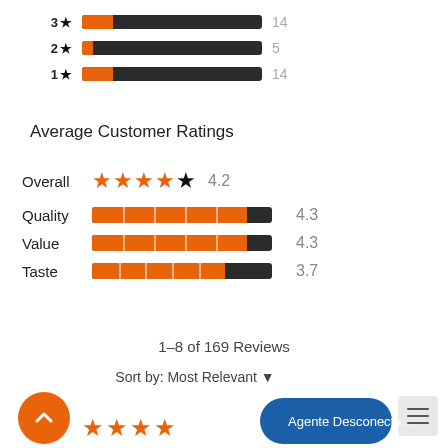[Figure (bar-chart): Star rating distribution (3★, 2★, 1★)]
Average Customer Ratings
[Figure (infographic): Average customer ratings breakdown: Overall 4.2 (4.5 stars shown), Quality 4.3 (bar), Value 4.3 (bar), Taste 3.7 (bar)]
1–8 of 169 Reviews
Sort by: Most Relevant ▼
[Figure (screenshot): Scroll-to-top orange circular button, orange star rating (4 stars) at bottom, and blue chat bubble 'Agente Desconecta...' button with hamburger menu icon]